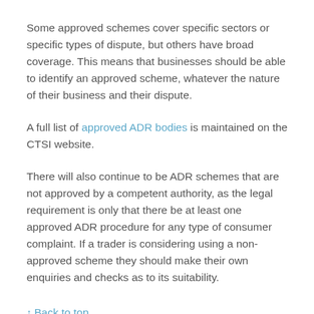Some approved schemes cover specific sectors or specific types of dispute, but others have broad coverage. This means that businesses should be able to identify an approved scheme, whatever the nature of their business and their dispute.
A full list of approved ADR bodies is maintained on the CTSI website.
There will also continue to be ADR schemes that are not approved by a competent authority, as the legal requirement is only that there be at least one approved ADR procedure for any type of consumer complaint. If a trader is considering using a non-approved scheme they should make their own enquiries and checks as to its suitability.
↑ Back to top